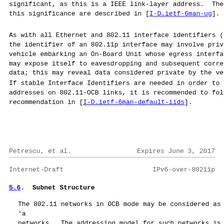significant, as this is a IEEE link-layer address.  The this significance are described in [I-D.ietf-6man-ug].
As with all Ethernet and 802.11 interface identifiers ( the identifier of an 802.11p interface may involve priv vehicle embarking an On-Board Unit whose egress interfa may expose itself to eavesdropping and subsequent corre data; this may reveal data considered private by the ve
If stable Interface Identifiers are needed in order to addresses on 802.11-OCB links, it is recommended to fol recommendation in [I-D.ietf-6man-default-iids].
Petrescu, et al.                Expires June 3, 2017
Internet-Draft                  IPv6-over-80211p
5.6.  Subnet Structure
The 802.11 networks in OCB mode may be considered as 'a networks.  The addressing model for such networks is de